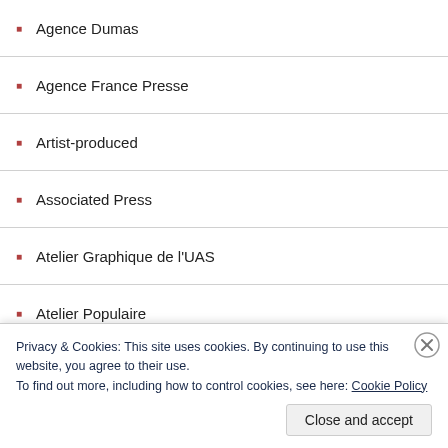Agence Dumas
Agence France Presse
Artist-produced
Associated Press
Atelier Graphique de l'UAS
Atelier Populaire
Berkeley
Booklet
CAET
CAL
Privacy & Cookies: This site uses cookies. By continuing to use this website, you agree to their use.
To find out more, including how to control cookies, see here: Cookie Policy
Close and accept